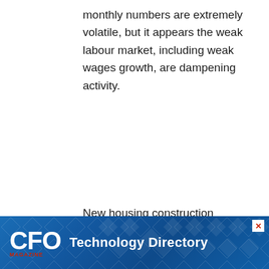monthly numbers are extremely volatile, but it appears the weak labour market, including weak wages growth, are dampening activity.
New housing construction remain weak as demand for dwellings is undermined by the slide in immigration inflows. Dwelling starts are on track to drop by 50 per cent by early 2021.
Interestingly, house prices have been
[Figure (other): CFO Magazine Technology Directory advertisement banner with blue diamond pattern background, CFO Magazine logo on left in white with red 'MAGAZINE' text below, and 'Technology Directory' text in white bold on right. Close button (X) in top right corner.]